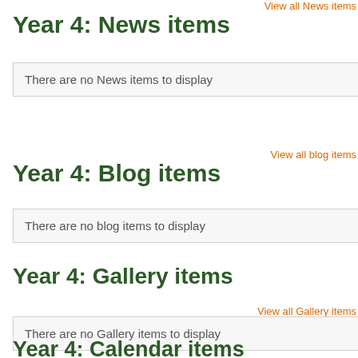View all News items
Year 4: News items
There are no News items to display
View all blog items
Year 4: Blog items
There are no blog items to display
Year 4: Gallery items
View all Gallery items
There are no Gallery items to display
Year 4: Calendar items
View all Calendar items